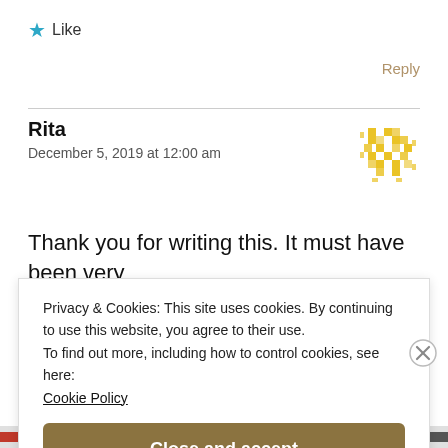★ Like
Reply
Rita
December 5, 2019 at 12:00 am
[Figure (illustration): Yellow pixel/QR-style avatar icon]
Thank you for writing this. It must have been very
Privacy & Cookies: This site uses cookies. By continuing to use this website, you agree to their use.
To find out more, including how to control cookies, see here:
Cookie Policy
Close and accept